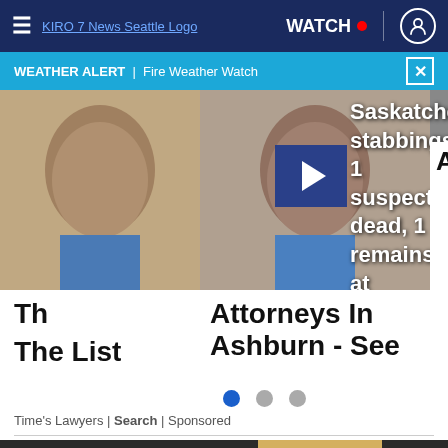≡  KIRO 7 News Seattle Logo  WATCH • [user icon]
WEATHER ALERT | Fire Weather Watch
[Figure (screenshot): Two male suspect mugshot photos overlaid with a blue play button. Partially visible is text: Saskatchewan stabbings: 1 suspect dead, 1 remains at]
Th... The List  |  Attorneys In Ashburn - See
Time's Lawyers | Search | Sponsored
[Figure (photo): Woman holding a theatre mask (smiling mask) in front of her face while she looks serious/worried — dark background. MAC cosmetics advertisement banner below with lipstick products, MAC logo, and SHOP NOW button.]